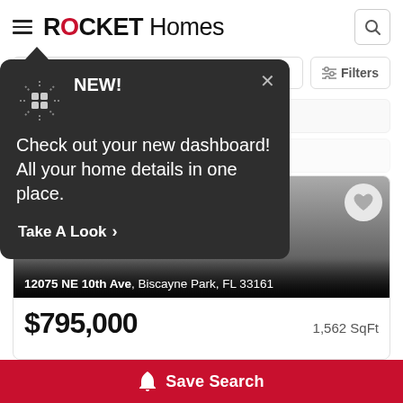ROCKET Homes
[Figure (screenshot): Rocket Homes app popup tooltip: NEW! Check out your new dashboard! All your home details in one place. Take A Look >]
12075 NE 10th Ave, Biscayne Park, FL 33161
$795,000  1,562 SqFt
Save Search